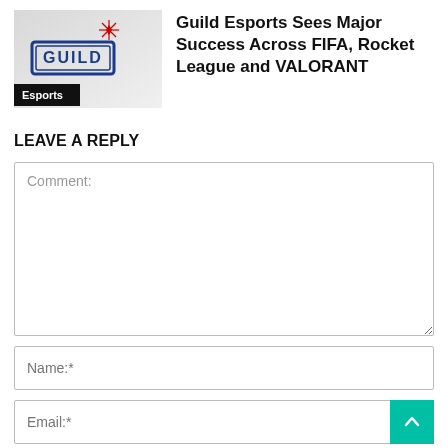[Figure (logo): Guild Esports logo with stylized shield/badge and star, red and blue colors, with 'Esports' badge overlay at bottom left]
Guild Esports Sees Major Success Across FIFA, Rocket League and VALORANT
LEAVE A REPLY
Comment:
Name:*
Email:*